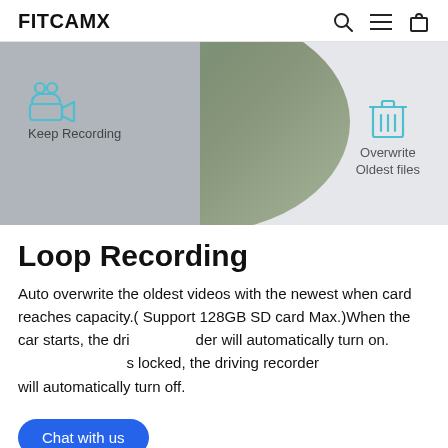FITCAMX
[Figure (screenshot): Hero image showing a circular dash cam interface with two sections: 'Keep Recording' with a camera icon (teal), and 'Overwrite Oldest files' with a trash icon (teal). Background shows road/nature photos.]
Loop Recording
Auto overwrite the oldest videos with the newest when card reaches capacity.( Support 128GB SD card Max.)When the car starts, the driving recorder will automatically turn on. When the car is locked, the driving recorder will automatically turn off.